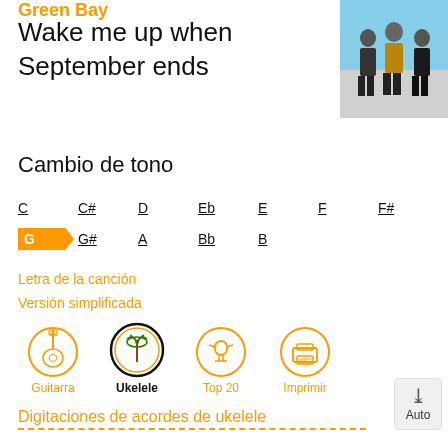Green Day
Wake me up when September ends
[Figure (photo): Band photo of Green Day members standing outdoors]
Cambio de tono
C  C#  D  Eb  E  F  F#
G  G#  A  Bb  B
Letra de la canción
Versión simplificada
[Figure (illustration): Guitarra icon]
[Figure (illustration): Ukelele icon (selected)]
[Figure (illustration): Top 20 icon]
[Figure (illustration): Imprimir icon]
Digitaciones de acordes de ukelele